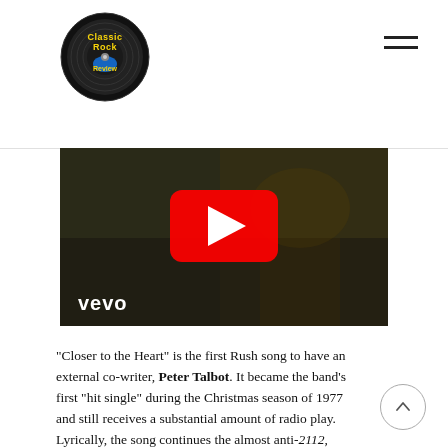Classic Rock Review
[Figure (screenshot): YouTube/Vevo video thumbnail showing a dark scene with a large red YouTube play button in the center and 'vevo' text in white at bottom left]
“Closer to the Heart” is the first Rush song to have an external co-writer, Peter Talbot. It became the band’s first “hit single” during the Christmas season of 1977 and still receives a substantial amount of radio play. Lyrically, the song continues the almost anti-2112, altruistic message, making it kind of a let down after the majesty of “Xanadu”. It does have a nice bridge after the second verse, which is just enough to give it the